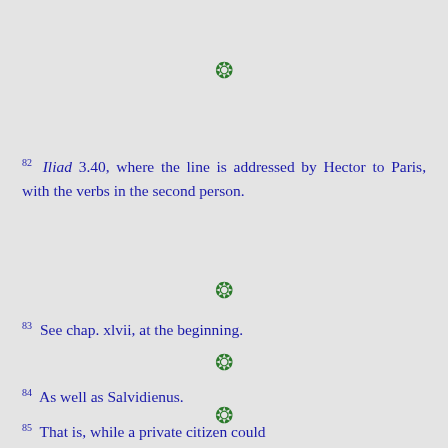82 Iliad 3.40, where the line is addressed by Hector to Paris, with the verbs in the second person.
83 See chap. xlvii, at the beginning.
84 As well as Salvidienus.
85 That is, while a private citizen could